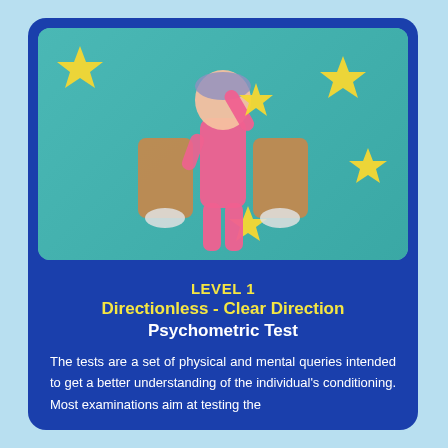[Figure (photo): A young girl dressed in pink with a cardboard jetpack, holding a star, posing as a superhero against a teal background with yellow stars]
LEVEL 1
Directionless - Clear Direction
Psychometric Test
The tests are a set of physical and mental queries intended to get a better understanding of the individual's conditioning. Most examinations aim at testing the